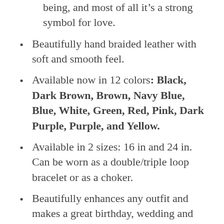being, and most of all it’s a strong symbol for love.
Beautifully hand braided leather with soft and smooth feel.
Available now in 12 colors: Black, Dark Brown, Brown, Navy Blue, Blue, White, Green, Red, Pink, Dark Purple, Purple, and Yellow.
Available in 2 sizes: 16 in and 24 in. Can be worn as a double/triple loop bracelet or as a choker.
Beautifully enhances any outfit and makes a great birthday, wedding and anniversary gift. (Comes in gorgeous style gift box, no need to gift wrap!)
Made in the USA:  Hypo-Allergenic,